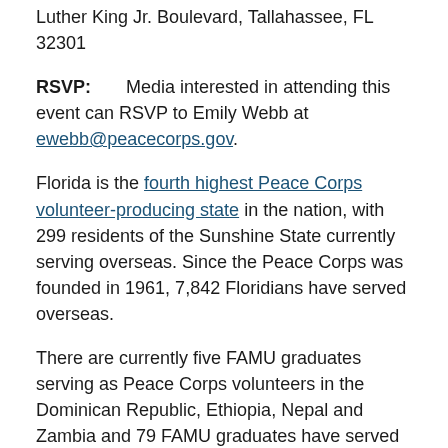WHERE: Perry-Paige Auditorium, 1415 S. Martin Luther King Jr. Boulevard, Tallahassee, FL 32301
RSVP: Media interested in attending this event can RSVP to Emily Webb at ewebb@peacecorps.gov.
Florida is the fourth highest Peace Corps volunteer-producing state in the nation, with 299 residents of the Sunshine State currently serving overseas. Since the Peace Corps was founded in 1961, 7,842 Floridians have served overseas.
There are currently five FAMU graduates serving as Peace Corps volunteers in the Dominican Republic, Ethiopia, Nepal and Zambia and 79 FAMU graduates have served overseas since the Peace Corps was established.
About the Peace Corps: The Peace Corps sends the best and brightest Americans abroad on behalf of the United States to tackle the most pressing needs of people around